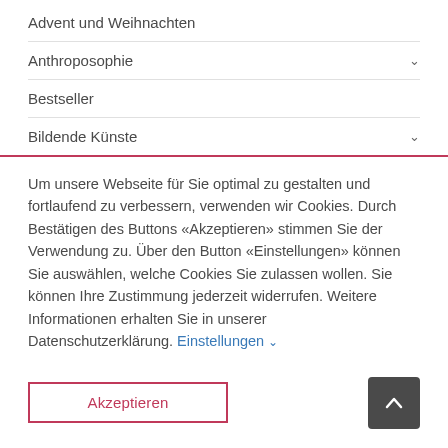Advent und Weihnachten
Anthroposophie
Bestseller
Bildende Künste
Um unsere Webseite für Sie optimal zu gestalten und fortlaufend zu verbessern, verwenden wir Cookies. Durch Bestätigen des Buttons «Akzeptieren» stimmen Sie der Verwendung zu. Über den Button «Einstellungen» können Sie auswählen, welche Cookies Sie zulassen wollen. Sie können Ihre Zustimmung jederzeit widerrufen. Weitere Informationen erhalten Sie in unserer Datenschutzerklärung. Einstellungen
Akzeptieren